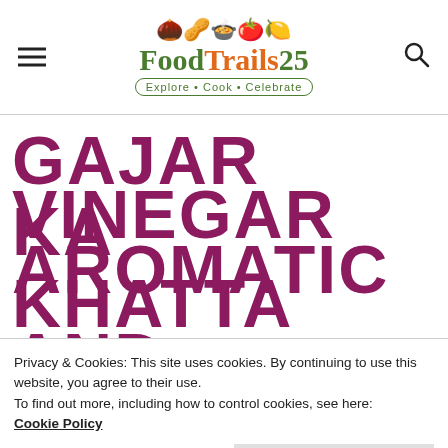FoodTrails25 — Explore • Cook • Celebrate
GAJAR KA KHATTA MEETHA ACHAR IS INSTANT CARROT VINEGAR AND AROMATIC INDIAN
Privacy & Cookies: This site uses cookies. By continuing to use this website, you agree to their use. To find out more, including how to control cookies, see here: Cookie Policy Close and accept